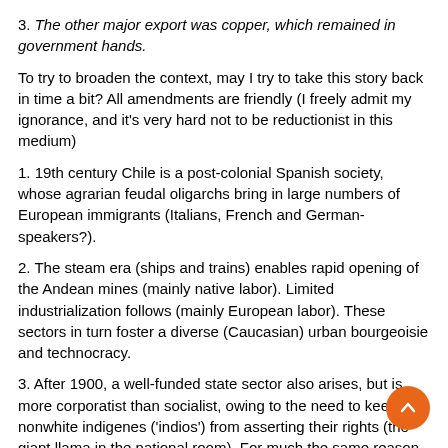3. The other major export was copper, which remained in government hands.
To try to broaden the context, may I try to take this story back in time a bit? All amendments are friendly (I freely admit my ignorance, and it's very hard not to be reductionist in this medium)
1. 19th century Chile is a post-colonial Spanish society, whose agrarian feudal oligarchs bring in large numbers of European immigrants (Italians, French and German-speakers?).
2. The steam era (ships and trains) enables rapid opening of the Andean mines (mainly native labor). Limited industrialization follows (mainly European labor). These sectors in turn foster a diverse (Caucasian) urban bourgeoisie and technocracy.
3. After 1900, a well-funded state sector also arises, but is more corporatist than socialist, owing to the need to keep the nonwhite indigenes ('indios') from asserting their rights (the giant llama in the national room). For much the same reason, unionization is kept within strict bounds (with military force if needed).
Interesting parallel to today's America? where 20 percenter liberals use racial divisions and fears to checkmate class...